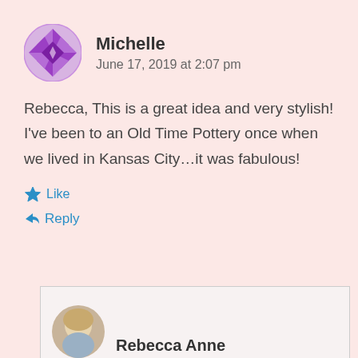[Figure (illustration): Purple decorative geometric/quilt-pattern circular avatar for user Michelle]
Michelle
June 17, 2019 at 2:07 pm
Rebecca, This is a great idea and very stylish! I've been to an Old Time Pottery once when we lived in Kansas City…it was fabulous!
Like
Reply
[Figure (photo): Partial photo of Rebecca Anne, a woman with blonde/light hair, cropped at bottom of page]
Rebecca Anne